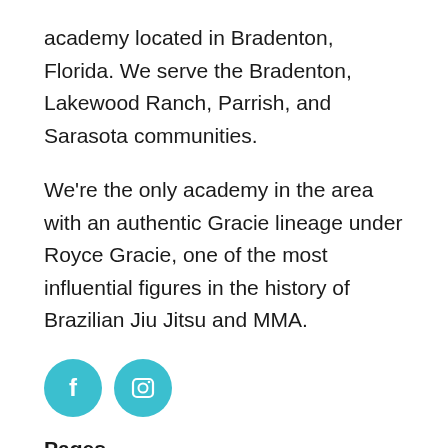academy located in Bradenton, Florida. We serve the Bradenton, Lakewood Ranch, Parrish, and Sarasota communities.
We're the only academy in the area with an authentic Gracie lineage under Royce Gracie, one of the most influential figures in the history of Brazilian Jiu Jitsu and MMA.
[Figure (illustration): Two teal circular social media icons: Facebook (f) and Instagram (camera outline)]
Pages
Home
Adult Brazilian Jiu Jitsu